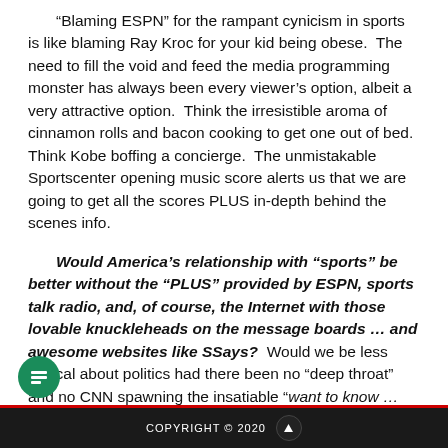“Blaming ESPN” for the rampant cynicism in sports is like blaming Ray Kroc for your kid being obese. The need to fill the void and feed the media programming monster has always been every viewer’s option, albeit a very attractive option. Think the irresistible aroma of cinnamon rolls and bacon cooking to get one out of bed. Think Kobe boffing a concierge. The unmistakable Sportscenter opening music score alerts us that we are going to get all the scores PLUS in-depth behind the scenes info.
Would America’s relationship with “sports” be better without the “PLUS” provided by ESPN, sports talk radio, and, of course, the Internet with those lovable knuckleheads on the message boards … and awesome websites like SSays? Would we be less cynical about politics had there been no “deep throat” and no CNN spawning the insatiable “want to know … need to know” gorging that
COPYRIGHT © 2020